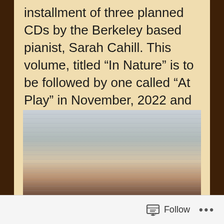installment of three planned CDs by the Berkeley based pianist, Sarah Cahill. This volume, titled “In Nature” is to be followed by one called “At Play” in November, 2022 and “The Dance” in March, 2023.
[Figure (photo): Black and white photograph of a woman (Sarah Cahill) with reddish-brown hair, looking slightly upward, with blurred sheet music in the background.]
Follow ...